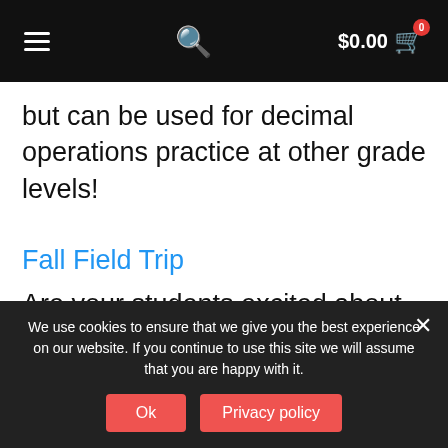$0.00 [cart icon with badge 0]
but can be used for decimal operations practice at other grade levels!
Fall Field Trip
Are your students excited about October? Mine absolutely love pumpkins, bats, and everything
We use cookies to ensure that we give you the best experience on our website. If you continue to use this site we will assume that you are happy with it.